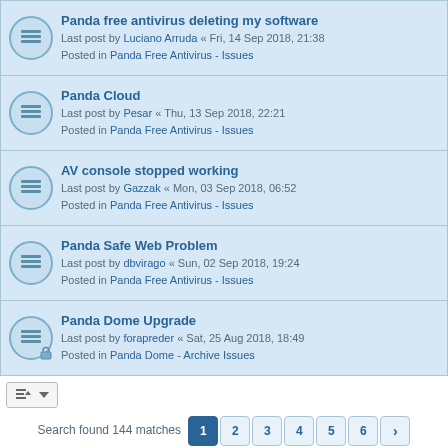Panda free antivirus deleting my software
Last post by Luciano Arruda « Fri, 14 Sep 2018, 21:38
Posted in Panda Free Antivirus - Issues
Panda Cloud
Last post by Pesar « Thu, 13 Sep 2018, 22:21
Posted in Panda Free Antivirus - Issues
AV console stopped working
Last post by Gazzak « Mon, 03 Sep 2018, 06:52
Posted in Panda Free Antivirus - Issues
Panda Safe Web Problem
Last post by dbvirago « Sun, 02 Sep 2018, 19:24
Posted in Panda Free Antivirus - Issues
Panda Dome Upgrade
Last post by forapreder « Sat, 25 Aug 2018, 18:49
Posted in Panda Dome - Archive Issues
Search found 144 matches  1 2 3 4 5 6 >
Jump to
Board index  Contact us  Delete cookies  All times are UTC+02:00
Powered by phpBB® Forum Software © phpBB Limited
Privacy | Terms